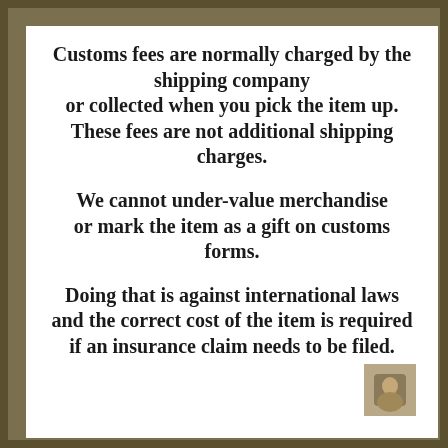Customs fees are normally charged by the shipping company or collected when you pick the item up. These fees are not additional shipping charges.
We cannot under-value merchandise or mark the item as a gift on customs forms.
Doing that is against international laws and the correct cost of the item is required if an insurance claim needs to be filed.